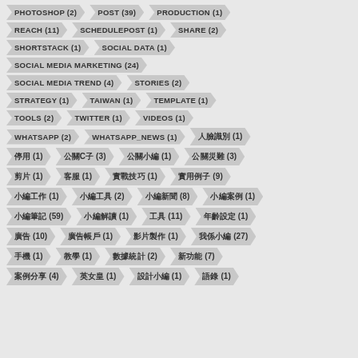PHOTOSHOP (2), POST (39), PRODUCTION (1)
REACH (11), SCHEDULEPOST (1), SHARE (2)
SHORTSTACK (1), SOCIAL DATA (1)
SOCIAL MEDIA MARKETING (24)
SOCIAL MEDIA TREND (4), STORIES (2)
STRATEGY (1), TAIWAN (1), TEMPLATE (1)
TOOLS (2), TWITTER (1), VIDEOS (1)
WHATSAPP (2), WHATSAPP_NEWS (1), 人臉識別 (1)
停用 (1), 公關C子 (3), 公關小編 (1), 公關災難 (3)
剪片 (1), 客服 (1), 實戰技巧 (1), 實用例子 (9)
小編工作 (1), 小編工具 (2), 小編新聞 (8), 小編案例 (1)
小編筆記 (59), 小編解讀 (1), 工具 (11), 年齡設定 (1)
廣告 (10), 廣告帳戶 (1), 影片製作 (1), 我係小編 (27)
手機 (1), 教學 (1), 數據統計 (2), 新功能 (7)
案例分享 (4), 英女皇 (1), 設計小編 (1), 語錄 (1)